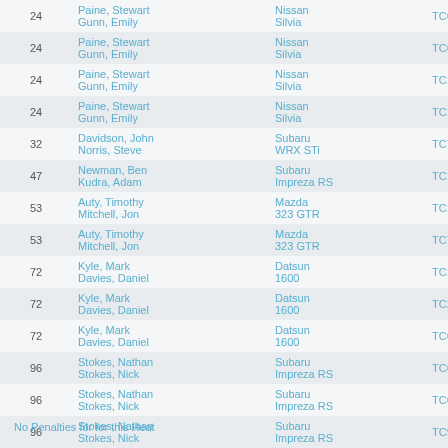| # | Drivers | Car | Code |
| --- | --- | --- | --- |
| 24 | Paine, Stewart
Gunn, Emily | Nissan
Silvia | TC6 |
| 24 | Paine, Stewart
Gunn, Emily | Nissan
Silvia | TC6A |
| 24 | Paine, Stewart
Gunn, Emily | Nissan
Silvia | TC11A |
| 24 | Paine, Stewart
Gunn, Emily | Nissan
Silvia | TC11F |
| 32 | Davidson, John
Norris, Steve | Subaru
WRX STi | TC7 |
| 47 | Newman, Ben
Kudra, Adam | Subaru
Impreza RS | TC14A |
| 53 | Auty, Timothy
Mitchell, Jon | Mazda
323 GTR | TC1F |
| 53 | Auty, Timothy
Mitchell, Jon | Mazda
323 GTR | TC7 |
| 72 | Kyle, Mark
Davies, Daniel | Datsun
1600 | TC1F |
| 72 | Kyle, Mark
Davies, Daniel | Datsun
1600 | TC2 |
| 72 | Kyle, Mark
Davies, Daniel | Datsun
1600 | TC6D |
| 96 | Stokes, Nathan
Stokes, Nick | Subaru
Impreza RS | TC6D |
| 96 | Stokes, Nathan
Stokes, Nick | Subaru
Impreza RS | TC6C |
| 96 | Stokes, Nathan
Stokes, Nick | Subaru
Impreza RS | TC9 |
No Penalties for for this Heat